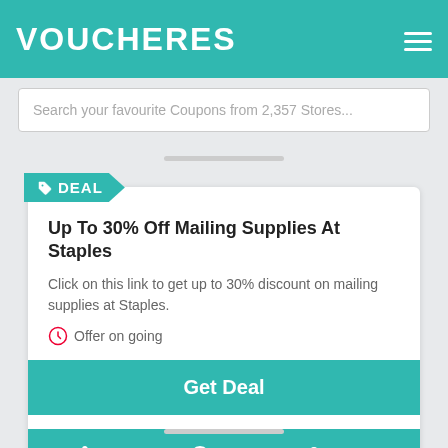VOUCHERES
Search your favourite Coupons from 2,357 Stores...
DEAL
Up To 30% Off Mailing Supplies At Staples
Click on this link to get up to 30% discount on mailing supplies at Staples.
Offer on going
Get Deal
0 Uses